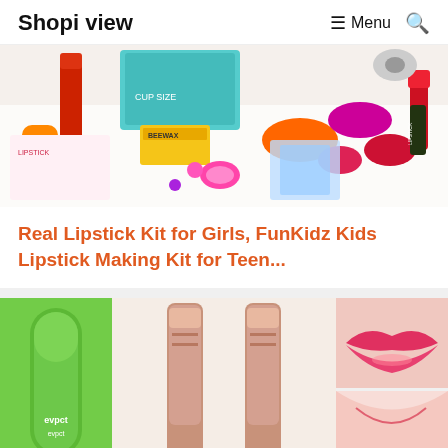Shopi view  ☰ Menu  🔍
[Figure (photo): Colorful lipstick making kit for kids with various makeup products, eyeshadows, lip balms, and beauty items spread on white background]
Real Lipstick Kit for Girls, FunKidz Kids Lipstick Making Kit for Teen...
[Figure (photo): Bottom row of lipstick product images: green Evpct lip balm tube, two rose gold lipstick tubes, pink lips closeup, and partial lip closeup]